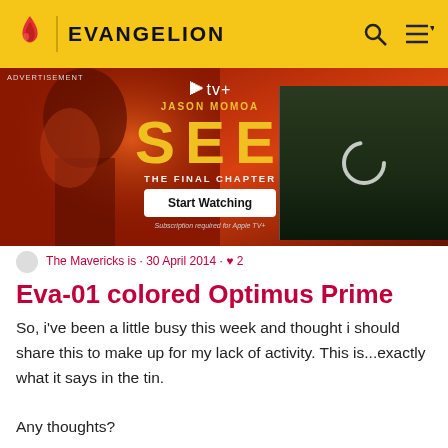EVANGELION
[Figure (photo): Advertisement banner for Apple TV+ show SEE featuring Jason Momoa. Shows the title SEE in large yellow letters, subtitle THE FINAL CHAPTER, a Start Watching button, and Jason Momoa imagery on dark fiery background. Right side shows a loading spinner on a dark forest scene.]
The Mavericks is · 30 April 2014 · ♥ 2
Eva-01 colored Optimus Prime
So, i've been a little busy this week and thought i should share this to make up for my lack of activity. This is...exactly what it says in the tin.

Any thoughts?
READ FULL POST